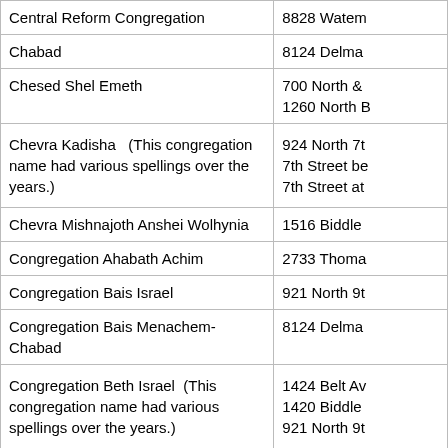| Congregation Name | Address |
| --- | --- |
| Central Reform Congregation | 8828 Watem... |
| Chabad | 8124 Delma... |
| Chesed Shel Emeth | 700 North &...
1260 North B... |
| Chevra Kadisha   (This congregation name had various spellings over the years.) | 924 North 7t...
7th Street be...
7th Street at... |
| Chevra Mishnajoth Anshei Wolhynia | 1516 Biddle... |
| Congregation Ahabath Achim | 2733 Thoma... |
| Congregation Bais Israel | 921 North 9t... |
| Congregation Bais Menachem-Chabad | 8124 Delma... |
| Congregation Beth Israel  (This congregation name had various spellings over the years.) | 1424 Belt Av...
1420 Biddle ...
921 North 9t... |
| Congregation B'nai Amoona (See B'nai Amoona) |  |
| Congregation Chai V'Sholom | 6327 Clayto... |
| Congregation Kol Am | 1415 Eldridg...
14455 Clayto... |
| Congregation Kol HaNeshama | 675 Merame... |
|  | 11645 Ladue... |